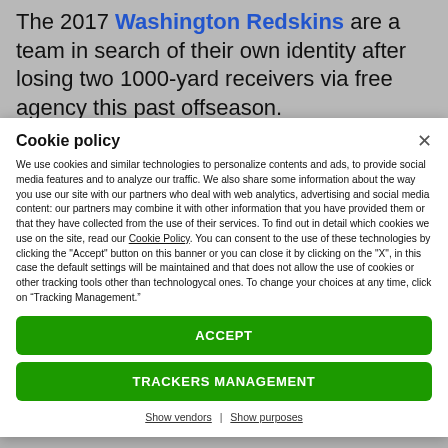The 2017 Washington Redskins are a team in search of their own identity after losing two 1000-yard receivers via free agency this past offseason.
Cookie policy
We use cookies and similar technologies to personalize contents and ads, to provide social media features and to analyze our traffic. We also share some information about the way you use our site with our partners who deal with web analytics, advertising and social media content: our partners may combine it with other information that you have provided them or that they have collected from the use of their services. To find out in detail which cookies we use on the site, read our Cookie Policy. You can consent to the use of these technologies by clicking the "Accept" button on this banner or you can close it by clicking on the "X", in this case the default settings will be maintained and that does not allow the use of cookies or other tracking tools other than technologycal ones. To change your choices at any time, click on “Tracking Management.”
ACCEPT
TRACKERS MANAGEMENT
Show vendors | Show purposes